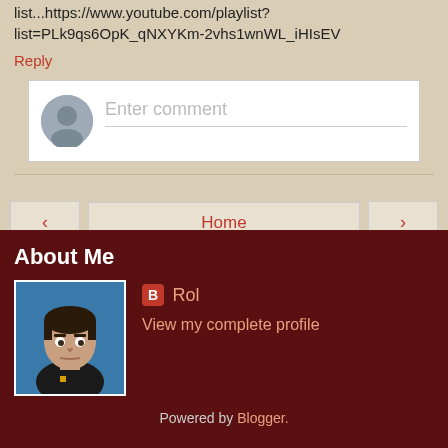list...https://www.youtube.com/playlist?list=PLk9qs6OpK_qNXYKm-2vhs1wnWL_iHIsEV
Reply
Enter comment
Home
View web version
About Me
Rol
[Figure (illustration): Blogger profile avatar: cartoon illustration of a person with dark hair wearing a black shirt, on a blue background]
View my complete profile
Powered by Blogger.